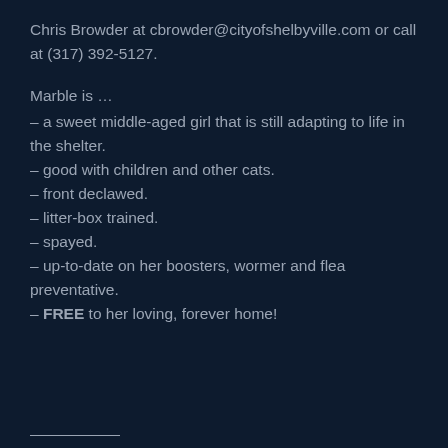Chris Browder at cbrowder@cityofshelbyville.com or call at (317) 392-5127.
Marble is …
– a sweet middle-aged girl that is still adapting to life in the shelter.
– good with children and other cats.
– front declawed.
– litter-box trained.
– spayed.
– up-to-date on her boosters, wormer and flea preventative.
– FREE to her loving, forever home!